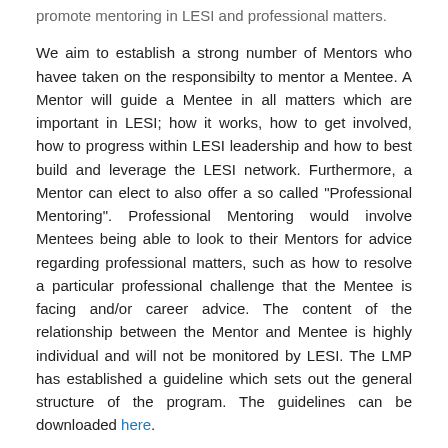promote mentoring in LESI and professional matters.
We aim to establish a strong number of Mentors who havee taken on the responsibilty to mentor a Mentee. A Mentor will guide a Mentee in all matters which are important in LESI; how it works, how to get involved, how to progress within LESI leadership and how to best build and leverage the LESI network. Furthermore, a Mentor can elect to also offer a so called "Professional Mentoring". Professional Mentoring would involve Mentees being able to look to their Mentors for advice regarding professional matters, such as how to resolve a particular professional challenge that the Mentee is facing and/or career advice. The content of the relationship between the Mentor and Mentee is highly individual and will not be monitored by LESI. The LMP has established a guideline which sets out the general structure of the program. The guidelines can be downloaded here.